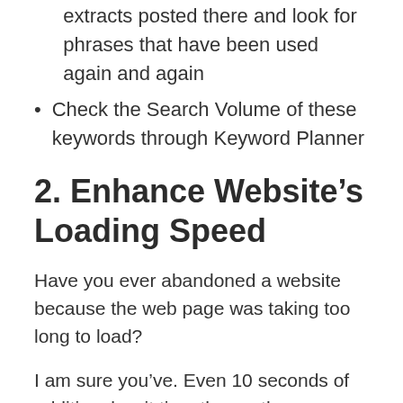extracts posted there and look for phrases that have been used again and again
Check the Search Volume of these keywords through Keyword Planner
2. Enhance Website's Loading Speed
Have you ever abandoned a website because the web page was taking too long to load?
I am sure you've. Even 10 seconds of additional wait time throws the users off-page. Hence, the time it takes for your site to load has a direct effect on your site's Google rankings.
Pages ranking among the top search results of